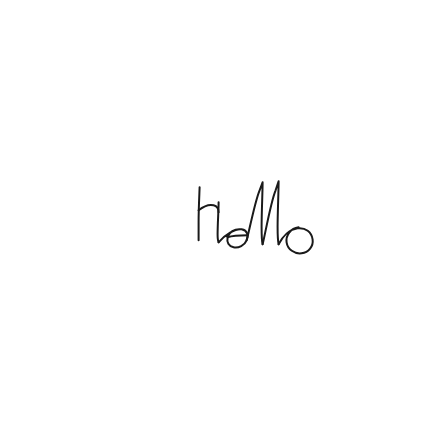[Figure (illustration): Handwritten cursive word 'Hello' in black ink on a white background, positioned slightly left of center and slightly above center of the page.]